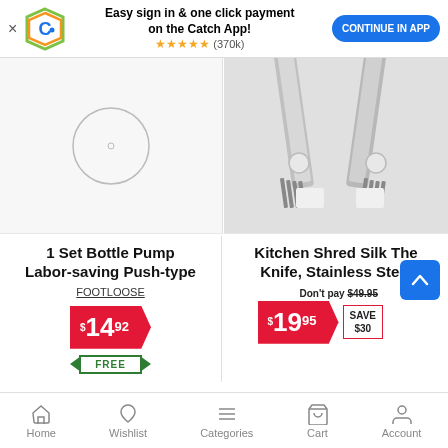Easy sign in & one click payment on the Catch App! ★★★★★ (370k)  CONTINUE IN APP
[Figure (photo): 1 Set Bottle Pump product placeholder image with circle]
1 Set Bottle Pump Labor-saving Push-type
FOOTLOOSE
$14.92
FREE
[Figure (photo): Kitchen Shred Silk knife stainless steel product image]
Kitchen Shred Silk The Knife, Stainless Steel
Don't pay $49.95
$19.95 SAVE $30
Home  Wishlist  Categories  Cart  Account